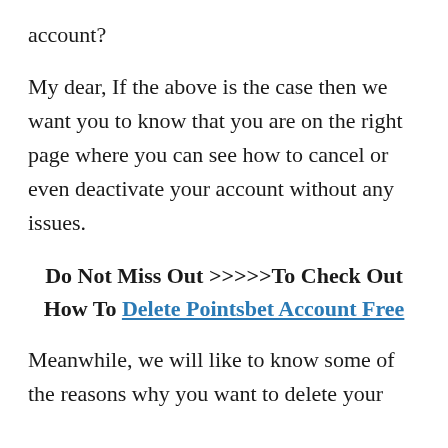account?
My dear, If the above is the case then we want you to know that you are on the right page where you can see how to cancel or even deactivate your account without any issues.
Do Not Miss Out >>>>>To Check Out How To Delete Pointsbet Account Free
Meanwhile, we will like to know some of the reasons why you want to delete your